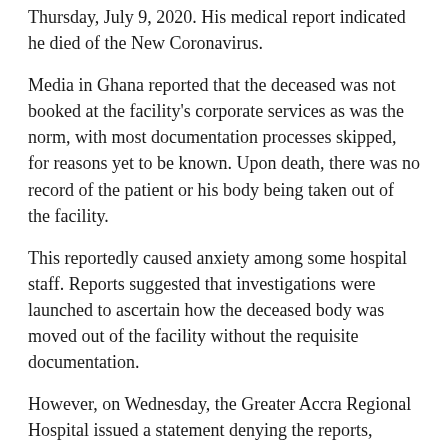Thursday, July 9, 2020. His medical report indicated he died of the New Coronavirus.
Media in Ghana reported that the deceased was not booked at the facility's corporate services as was the norm, with most documentation processes skipped, for reasons yet to be known. Upon death, there was no record of the patient or his body being taken out of the facility.
This reportedly caused anxiety among some hospital staff. Reports suggested that investigations were launched to ascertain how the deceased body was moved out of the facility without the requisite documentation.
However, on Wednesday, the Greater Accra Regional Hospital issued a statement denying the reports, stating that the body did not go missing and has been identified by the family.
According to the statement, the body has since been released from the mortuary for the necessary burial arrangement by his